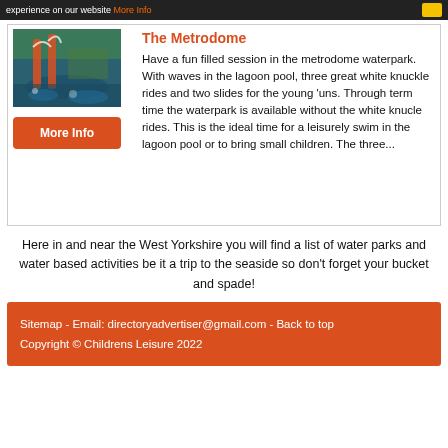experience on our website More Info
[Figure (photo): Water park with slides and pool]
More Info
The Metrodome
Have a fun filled session in the metrodome waterpark.  With waves in the lagoon pool, three great white knuckle rides and two slides for the young 'uns. Through term time the waterpark is available without the white knucle rides.  This is the ideal time for a leisurely swim in the lagoon pool or to bring small children. The three...
Here in and near the West Yorkshire you will find a list of water parks and water based activities be it a trip to the seaside so don't forget your bucket and spade!
Sitemap - Email: directoryadvertiser@gmail.com - Back to top
Copyright © Childrens Leisure 2022